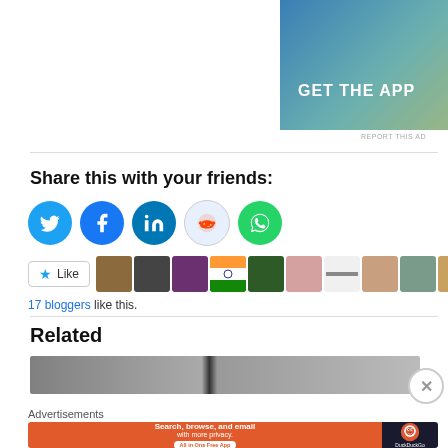[Figure (screenshot): App advertisement banner with gradient blue-teal-yellow background, showing 'GET THE APP' text and a phone mockup on the right]
REPORT THIS AD
Share this with your friends:
[Figure (infographic): Row of social media sharing icons: Twitter (blue), Facebook (blue), LinkedIn (blue), Reddit (light/pale), WhatsApp (green)]
[Figure (infographic): Like button with star icon and a strip of blogger avatar thumbnails]
17 bloggers like this.
Related
[Figure (photo): Related article preview image — grey/dark gradient banner]
Advertisements
[Figure (screenshot): DuckDuckGo advertisement banner: 'Search, browse, and email with more privacy. All in One Free App' on orange background with DuckDuckGo logo on dark right panel]